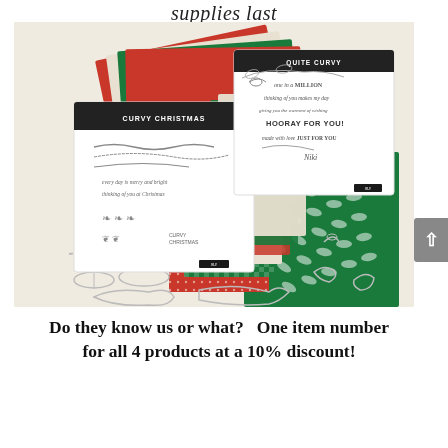supplies last
[Figure (photo): Product flat lay showing Curvy Christmas stamp set, Quite Curvy stamp set, patterned papers in red and green Christmas designs, and decorative dies/punches arranged on a cream background.]
Do they know us or what?   One item number for all 4 products at a 10% discount!